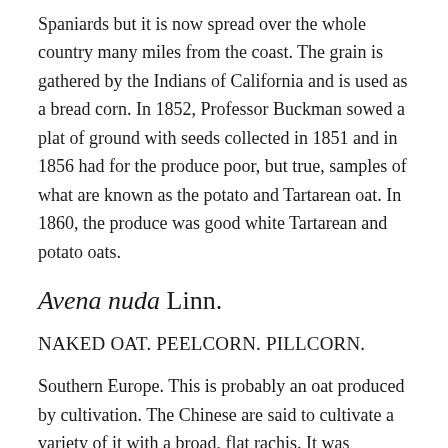Spaniards but it is now spread over the whole country many miles from the coast. The grain is gathered by the Indians of California and is used as a bread corn. In 1852, Professor Buckman sowed a plat of ground with seeds collected in 1851 and in 1856 had for the produce poor, but true, samples of what are known as the potato and Tartarean oat. In 1860, the produce was good white Tartarean and potato oats.
Avena nuda Linn.
NAKED OAT. PEELCORN. PILLCORN.
Southern Europe. This is probably an oat produced by cultivation. The Chinese are said to cultivate a variety of it with a broad, flat rachis. It was growing in England, according to Turner, in 1538. It is now, and has been for some time, among the seeds of our seedsmen.